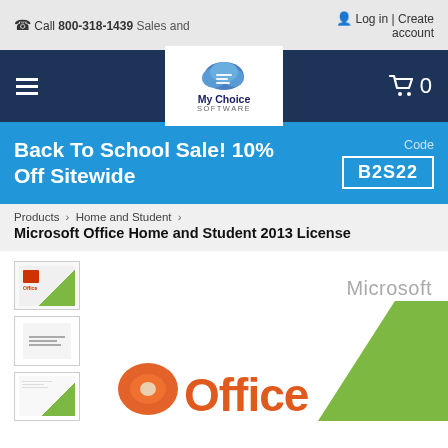Call 800-318-1439 Sales and | Log in | Create account
[Figure (logo): My Choice Software logo with cloud icon]
Back To School Sale! 10% Off Sitewide — Code B2S22
Products › Home and Student ›
Microsoft Office Home and Student 2013 License
[Figure (photo): Microsoft Office Home and Student 2013 product box thumbnail images and main product image showing Microsoft Office branding with orange/red Office logo and green background]